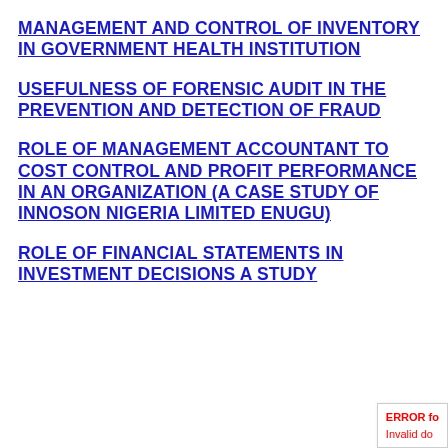MANAGEMENT AND CONTROL OF INVENTORY IN GOVERNMENT HEALTH INSTITUTION
USEFULNESS OF FORENSIC AUDIT IN THE PREVENTION AND DETECTION OF FRAUD
ROLE OF MANAGEMENT ACCOUNTANT TO COST CONTROL AND PROFIT PERFORMANCE IN AN ORGANIZATION (A CASE STUDY OF INNOSON NIGERIA LIMITED ENUGU)
ROLE OF FINANCIAL STATEMENTS IN INVESTMENT DECISIONS A STUD…